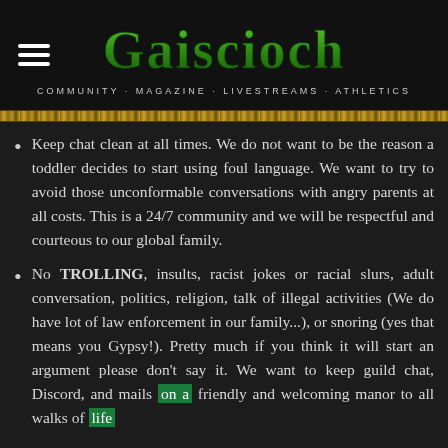Gaiscioch — COMMUNITY · MAGAZINE · LIVESTREAMS · ATHLETICS
Keep chat clean at all times. We do not want to be the reason a toddler decides to start using foul language. We want to try to avoid those unconformable conversations with angry parents at all costs. This is a 24/7 community and we will be respectful and courteous to our global family.
No TROLLING, insults, racist jokes or racial slurs, adult conversation, politics, religion, talk of illegal activities (We do have lot of law enforcement in our family...), or snoring (yes that means you Gypsy!). Pretty much if you think it will start an argument please don't say it. We want to keep guild chat, Discord, and mails on a friendly and welcoming manor to all walks of life